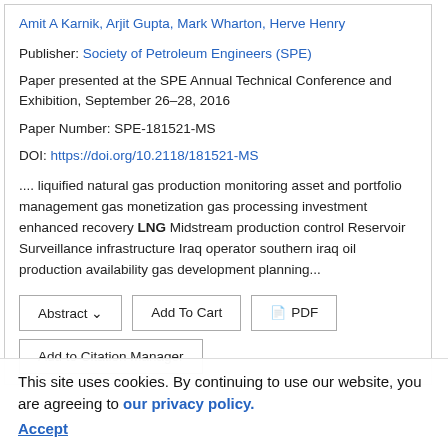Amit A Karnik, Arjit Gupta, Mark Wharton, Herve Henry
Publisher: Society of Petroleum Engineers (SPE)
Paper presented at the SPE Annual Technical Conference and Exhibition, September 26–28, 2016
Paper Number: SPE-181521-MS
DOI: https://doi.org/10.2118/181521-MS
.... liquified natural gas production monitoring asset and portfolio management gas monetization gas processing investment enhanced recovery LNG Midstream production control Reservoir Surveillance infrastructure Iraq operator southern iraq oil production availability gas development planning...
Abstract ∨   Add To Cart   PDF
Add to Citation Manager
This site uses cookies. By continuing to use our website, you are agreeing to our privacy policy. Accept